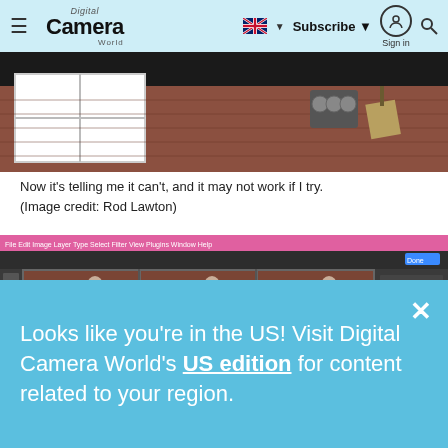Digital Camera World — Subscribe | Sign in
[Figure (photo): Photograph of a brick wall with a white window frame and some objects, shown in low-light conditions. The top portion is very dark.]
Now it's telling me it can't, and it may not work if I try.
(Image credit: Rod Lawton)
[Figure (screenshot): Screenshot of Adobe Photoshop interface showing a grid of six video frames displaying a person in a garden/patio setting. The interface shows the pink/magenta Photoshop menu bar at the top, left toolbar, and right panels.]
Looks like you're in the US! Visit Digital Camera World's US edition for content related to your region.